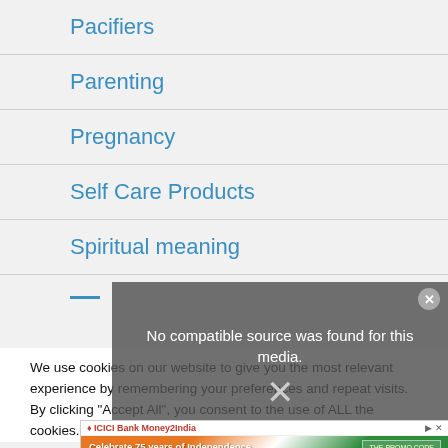Pacifiers
Parenting
Pregnancy
Self Care Products
Spiritual meaning
[Figure (screenshot): Video player overlay showing 'No compatible source was found for this media' with an X close button and dismiss mark]
We use cookies on our website to give you the most relevant experience by remembering your preferences and repeat visits. By clicking “Accept All”, you consent to the use of ALL the cookies. However, you may visit “Cookie Settings” to
[Figure (screenshot): ICICI Bank Money2India advertisement banner: Celebrate 75 years of Independence with a 25 paise better rate. Promo code INDIA75.]